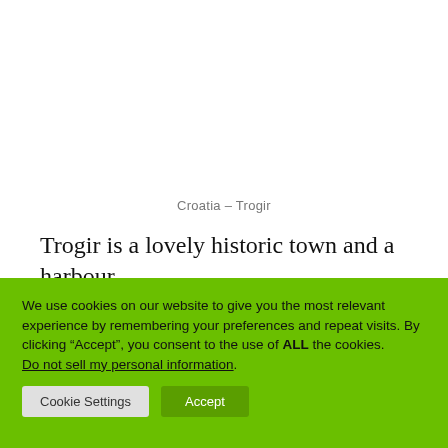Croatia – Trogir
Trogir is a lovely historic town and a harbour.
[Figure (other): Social sharing icons (Facebook, Pinterest, Twitter, and another network) showing colored top bars on white boxes]
We use cookies on our website to give you the most relevant experience by remembering your preferences and repeat visits. By clicking “Accept”, you consent to the use of ALL the cookies.
Do not sell my personal information.
Cookie Settings
Accept